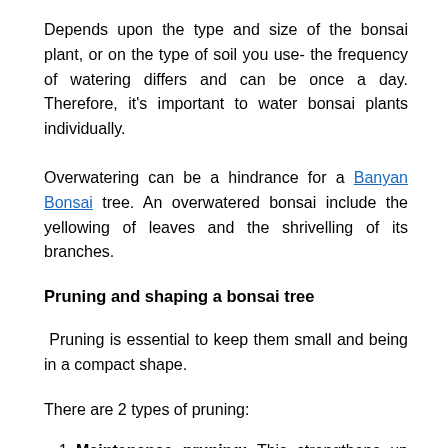Depends upon the type and size of the bonsai plant, or on the type of soil you use- the frequency of watering differs and can be once a day. Therefore, it’s important to water bonsai plants individually.
Overwatering can be a hindrance for a Banyan Bonsai tree. An overwatered bonsai include the yellowing of leaves and the shrivelling of its branches.
Pruning and shaping a bonsai tree
Pruning is essential to keep them small and being in a compact shape.
There are 2 types of pruning:
Maintenance pruning: This strengthens up the tree and encourages the Setting up and development...